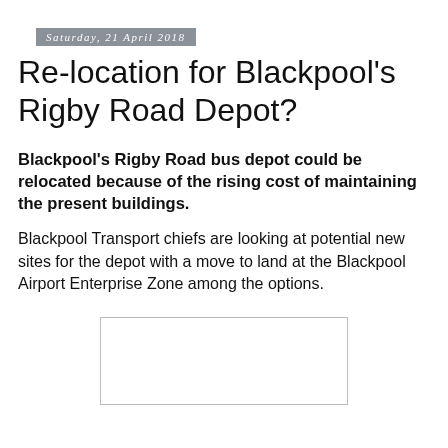Saturday, 21 April 2018
Re-location for Blackpool's Rigby Road Depot?
Blackpool's Rigby Road bus depot could be relocated because of the rising cost of maintaining the present buildings.
Blackpool Transport chiefs are looking at potential new sites for the depot with a move to land at the Blackpool Airport Enterprise Zone among the options.
[Figure (photo): Blank/white image placeholder box]